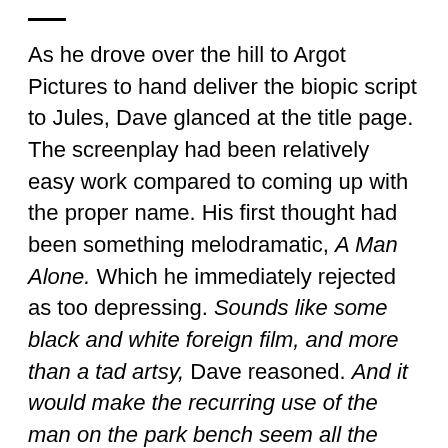As he drove over the hill to Argot Pictures to hand deliver the biopic script to Jules, Dave glanced at the title page. The screenplay had been relatively easy work compared to coming up with the proper name. His first thought had been something melodramatic, A Man Alone. Which he immediately rejected as too depressing. Sounds like some black and white foreign film, and more than a tad artsy, Dave reasoned. And it would make the recurring use of the man on the park bench seem all the more precious. For similar reasons, he rejected A Mogul At Sunset.
“Why not Sunset Boulevard Of Broken Dreams?” his pal Joel Rodgers had laughed when they discussed a